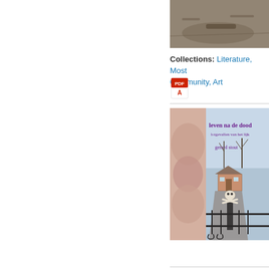[Figure (photo): Partial view of a book cover or object, brownish/grey tones, top right area]
Collections: Literature, Most Community, Art
[Figure (photo): PDF icon (red Adobe PDF logo)]
[Figure (photo): Book cover: 'leven na de dood - lotgevallen van het lijk' by gerard stout. Shows a skull and crossbones on a gate post in front of a rural house, with a close-up of a brain on the left side.]